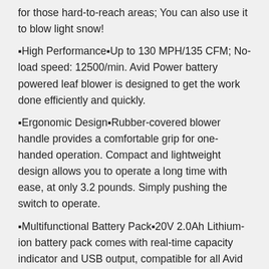for those hard-to-reach areas; You can also use it to blow light snow!
🔹High Performance🔹Up to 130 MPH/135 CFM; No-load speed: 12500/min. Avid Power battery powered leaf blower is designed to get the work done efficiently and quickly.
🔹Ergonomic Design🔹Rubber-covered blower handle provides a comfortable grip for one-handed operation. Compact and lightweight design allows you to operate a long time with ease, at only 3.2 pounds. Simply pushing the switch to operate.
🔹Multifunctional Battery Pack🔹20V 2.0Ah Lithium-ion battery pack comes with real-time capacity indicator and USB output, compatible for all Avid Power cordless devices charging.
🔹What Would You Get🔹1 * battery-powered cordless leaf blower, 1 * 20V MAX lithium-ion battery, 1 *